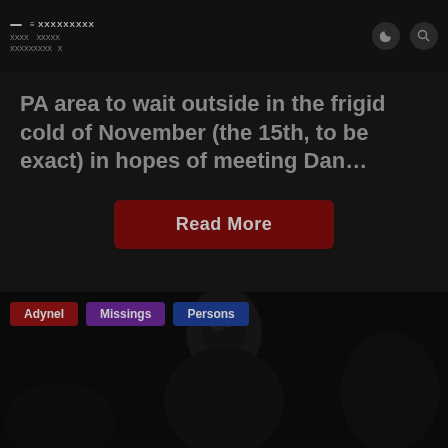Navigation bar with hamburger menu, logo text, moon icon and search icon
PA area to wait outside in the frigid cold of November (the 15th, to be exact) in hopes of meeting Dan…
Read More
Adynel
Missings
Persons
[Figure (photo): Dark photograph of a person's face/figure, very low exposure, near black]